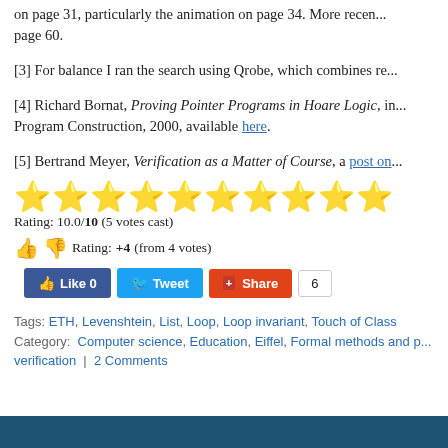on page 31, particularly the animation on page 34. More recen... page 60.
[3] For balance I ran the search using Qrobe, which combines re...
[4] Richard Bornat, Proving Pointer Programs in Hoare Logic, in... Program Construction, 2000, available here.
[5] Bertrand Meyer, Verification as a Matter of Course, a post on...
Rating: 10.0/10 (5 votes cast)
Rating: +4 (from 4 votes)
Tags: ETH, Levenshtein, List, Loop, Loop invariant, Touch of Class
Category: Computer science, Education, Eiffel, Formal methods and p... verification | 2 Comments